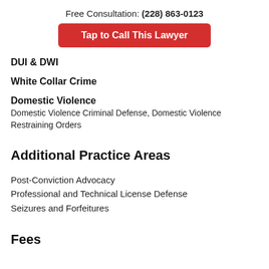Free Consultation: (228) 863-0123
Tap to Call This Lawyer
DUI & DWI
White Collar Crime
Domestic Violence
Domestic Violence Criminal Defense, Domestic Violence Restraining Orders
Additional Practice Areas
Post-Conviction Advocacy
Professional and Technical License Defense
Seizures and Forfeitures
Fees